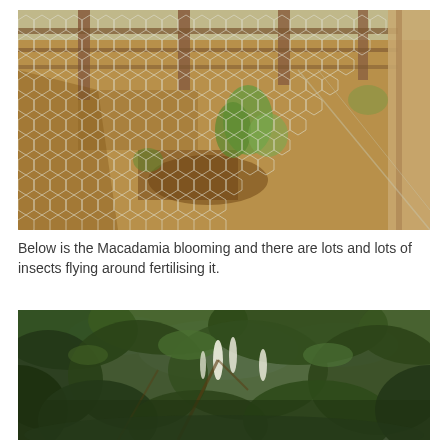[Figure (photo): Garden area enclosed with hexagonal wire (chicken wire) fencing. Inside, dry brown soil is visible with some green plants growing. Wooden fence posts and horizontal rails are seen in the background. A wooden post runs diagonally along the right side of the fence.]
Below is the Macadamia blooming and there are lots and lots of insects flying around fertilising it.
[Figure (photo): Close-up view looking up through the canopy of a Macadamia tree in bloom. Large dark green leaves fill the frame, with lighter sky visible between branches. White/cream elongated flower spikes (racemes) are visible among the foliage.]